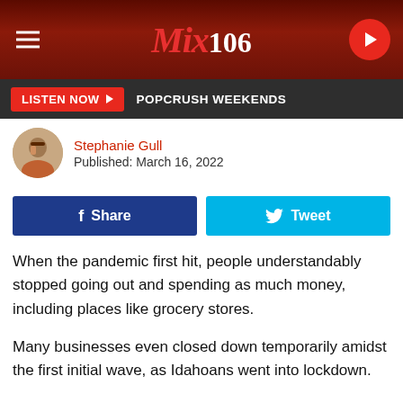Mix 106
LISTEN NOW  POPCRUSH WEEKENDS
Stephanie Gull
Published: March 16, 2022
Share  Tweet
When the pandemic first hit, people understandably stopped going out and spending as much money, including places like grocery stores.
Many businesses even closed down temporarily amidst the first initial wave, as Idahoans went into lockdown.
Because of this, the flow and circulation of coins drastically slowed down.